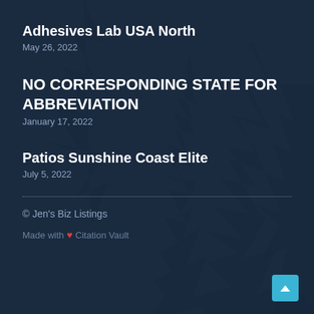Adhesives Lab USA North
May 26, 2022
NO CORRESPONDING STATE FOR ABBREVIATION
January 17, 2022
Patios Sunshine Coast Elite
July 5, 2022
© Jen's Biz Listings
Made with ❤ Citation Vault